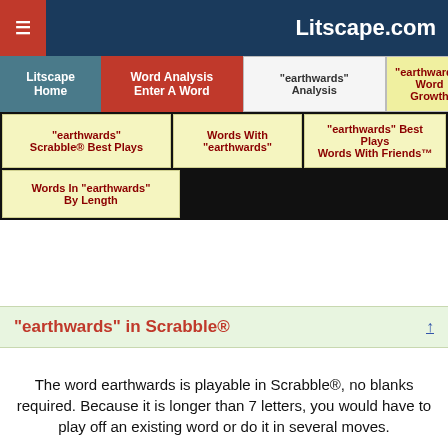Litscape.com
Litscape Home | Word Analysis Enter A Word | "earthwards" Analysis | "earthwards" Word Growth
"earthwards" Scrabble® Best Plays | Words With "earthwards" | "earthwards" Best Plays Words With Friends™
Words In "earthwards" By Length
"earthwards" in Scrabble®
The word earthwards is playable in Scrabble®, no blanks required. Because it is longer than 7 letters, you would have to play off an existing word or do it in several moves.